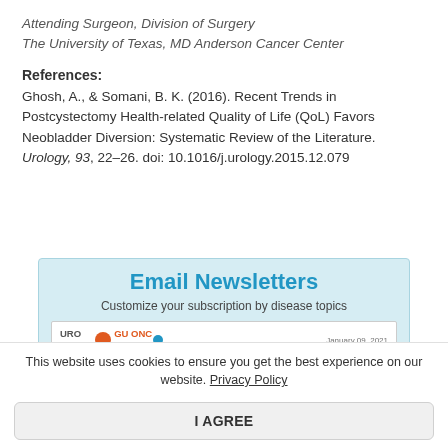Attending Surgeon, Division of Surgery
The University of Texas, MD Anderson Cancer Center
References:
Ghosh, A., & Somani, B. K. (2016). Recent Trends in Postcystectomy Health-related Quality of Life (QoL) Favors Neobladder Diversion: Systematic Review of the Literature. Urology, 93, 22–26. doi: 10.1016/j.urology.2015.12.079
[Figure (screenshot): Email Newsletters promotional box with light blue background. Text: 'Email Newsletters' in bold blue, 'Customize your subscription by disease topics'. Shows a newsletter preview with UroToday and GU ONC Today logos dated January 09, 2021.]
This website uses cookies to ensure you get the best experience on our website. Privacy Policy
I AGREE